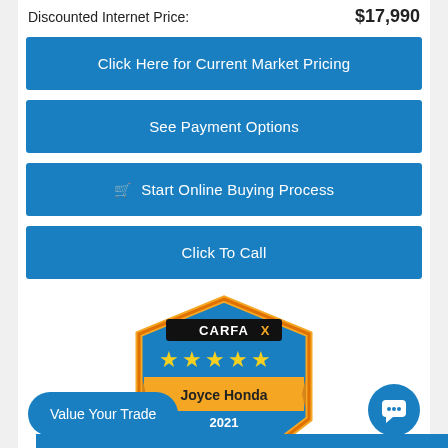Discounted Internet Price: $17,990
Click Here for Current Market Pricing
See Payment Options
🛒 Start Online Buying Process
Click To Call
[Figure (logo): CARFAX 5-star badge: Joyce Honda 2021 Top-Rated Dealer with Car Fox mascot]
Value Your Trade
💬 (chat button)